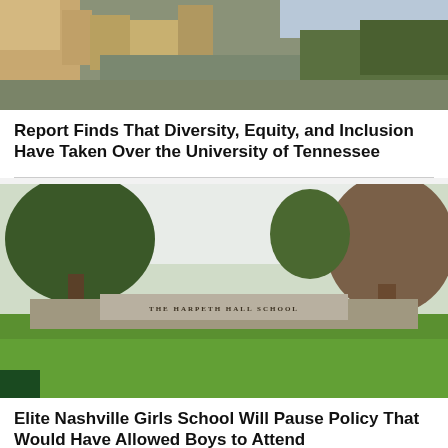[Figure (photo): Aerial view of a university campus with buildings, crowds of people, and trees]
Report Finds That Diversity, Equity, and Inclusion Have Taken Over the University of Tennessee
[Figure (photo): Exterior photo of The Harpeth Hall School sign on a stone wall surrounded by trees and green lawn]
Elite Nashville Girls School Will Pause Policy That Would Have Allowed Boys to Attend